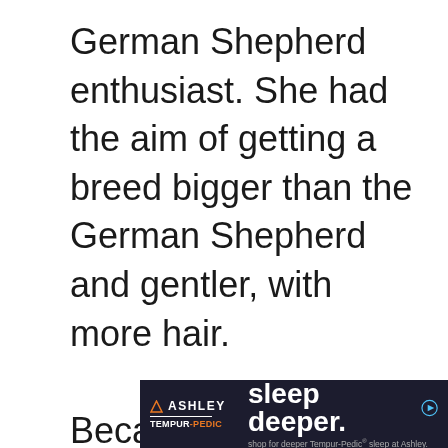German Shepherd enthusiast. She had the aim of getting a breed bigger than the German Shepherd and gentler, with more hair.

Because it is recent, the Shiloh Shepherd is still rare. It also retains a designer breed status and hasn't been recognized by
[Figure (other): Ashley Tempur-Pedic advertisement banner reading 'sleep deeper. shop for deeper Tempur-Pedic sleep at Ashley.' with Ashley logo and triangle icon on dark navy background.]